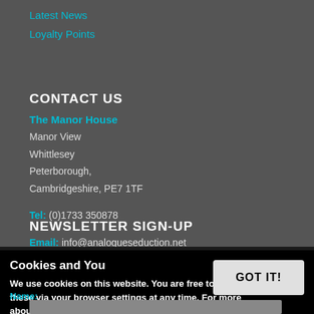Latest News
Loyalty Points
CONTACT US
The Manor House
Manor View
Whittlesey
Peterborough,
Cambridgeshire, PE7 1TF
Tel: (0)1733 350878
Email: info@analogueseduction.net
NEWSLETTER SIGN-UP
Sign up to hear about latest news & offers.
Cookies and You
We use cookies on this website. You are free to manage these via your browser settings at any time. For more about how we use cookies, please see our Privacy Policy